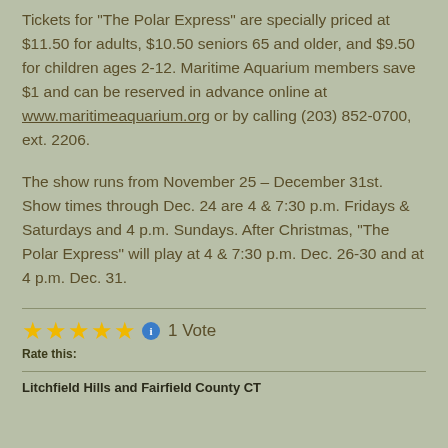Tickets for "The Polar Express" are specially priced at $11.50 for adults, $10.50 seniors 65 and older, and $9.50 for children ages 2-12. Maritime Aquarium members save $1 and can be reserved in advance online at www.maritimeaquarium.org or by calling (203) 852-0700, ext. 2206.
The show runs from November 25 – December 31st. Show times through Dec. 24 are 4 & 7:30 p.m. Fridays & Saturdays and 4 p.m. Sundays. After Christmas, "The Polar Express" will play at 4 & 7:30 p.m. Dec. 26-30 and at 4 p.m. Dec. 31.
Rate this: ★★★★★ ⓘ 1 Vote
Litchfield Hills and Fairfield County CT